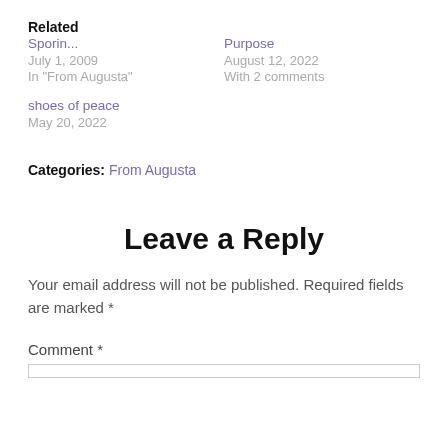Related
Sporin...
July 1, 2009
In "From Augusta"
Purpose
August 12, 2022
With 2 comments
shoes of peace
May 20, 2022
Categories: From Augusta
Leave a Reply
Your email address will not be published. Required fields are marked *
Comment *